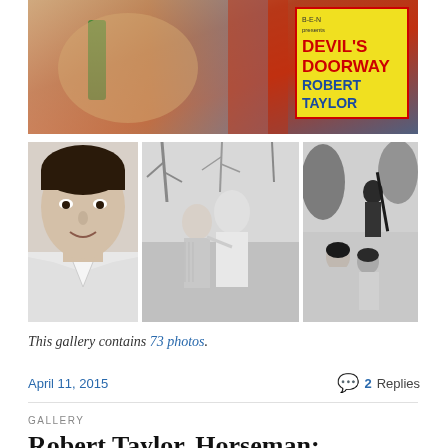[Figure (photo): Movie poster for 'Devil's Doorway' featuring Robert Taylor, with colorful background showing arm and decorative elements. Yellow label with red title text 'DEVIL'S DOORWAY' and blue text 'ROBERT TAYLOR'.]
[Figure (photo): Black and white portrait photo of Robert Taylor, a middle-aged man with dark hair, smiling slightly, wearing a white shirt.]
[Figure (photo): Black and white movie still showing a man and woman outdoors with bare trees in background.]
[Figure (photo): Black and white movie still showing three people outdoors, one standing holding a rifle, two others seated/crouching.]
This gallery contains 73 photos.
April 11, 2015
2 Replies
GALLERY
Robert Taylor, Horseman: